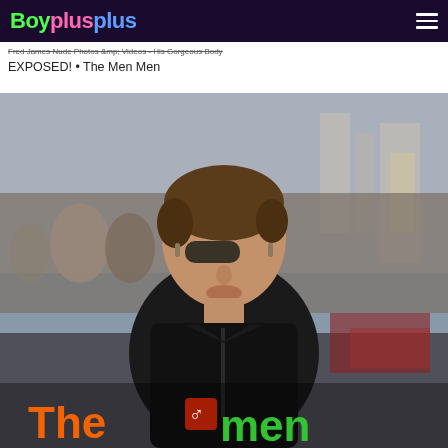Boy plus plus
Fred James Nude Photos &amp; Videos - His Gorgeous Body EXPOSED! • The Men Men
EXPOSED! • The Men Men
[Figure (photo): A man wearing sunglasses and a dark jacket standing outdoors in an urban setting with a crowd in the background. Overlay text at the bottom reads 'The men men' with colorful lettering.]